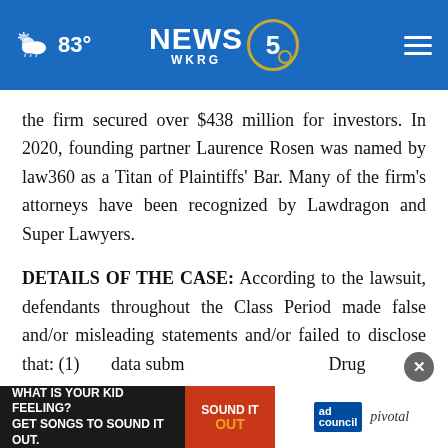83° NEWS 5 WKRG
the firm secured over $438 million for investors. In 2020, founding partner Laurence Rosen was named by law360 as a Titan of Plaintiffs' Bar. Many of the firm's attorneys have been recognized by Lawdragon and Super Lawyers.
DETAILS OF THE CASE: According to the lawsuit, defendants throughout the Class Period made false and/or misleading statements and/or failed to disclose that: (1) [data] subm[itted] [to the Food and] Drug
[Figure (screenshot): Advertisement banner: 'WHAT IS YOUR KID FEELING? GET SONGS TO SOUND IT OUT.' with Sound It Out branding, Ad Council logo, and Pivotal logo]